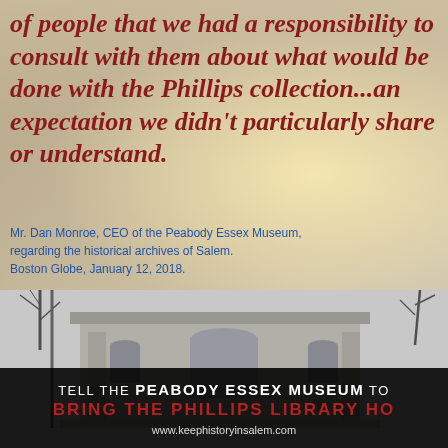[Figure (photo): Interior of a bright gallery or hall with warm light, serving as background for an overlaid quote in dark red italic text.]
of people that we had a responsibility to consult with them about what would be done with the Phillips collection...an expectation we didn't particularly share or understand.
Mr. Dan Monroe, CEO of the Peabody Essex Museum, regarding the historical archives of Salem. Boston Globe, January 12, 2018.
[Figure (photo): Black and white photograph of a historic stone building (Phillips Library), bare winter trees visible, with a dark banner overlay at bottom reading: TELL THE PEABODY ESSEX MUSEUM TO BRING THE PHILLIPS LIBRARY HOME and www.keephistoryinsalem.com]